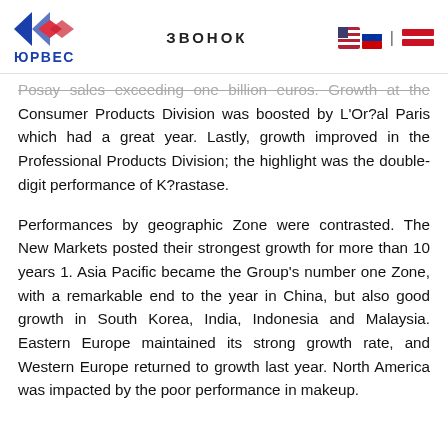ЮРВЕС | ЗВОНОК
Posay sales exceeding one billion euros. Growth at the Consumer Products Division was boosted by L'Or?al Paris which had a great year. Lastly, growth improved in the Professional Products Division; the highlight was the double-digit performance of K?rastase.
Performances by geographic Zone were contrasted. The New Markets posted their strongest growth for more than 10 years 1. Asia Pacific became the Group's number one Zone, with a remarkable end to the year in China, but also good growth in South Korea, India, Indonesia and Malaysia. Eastern Europe maintained its strong growth rate, and Western Europe returned to growth last year. North America was impacted by the poor performance in makeup.